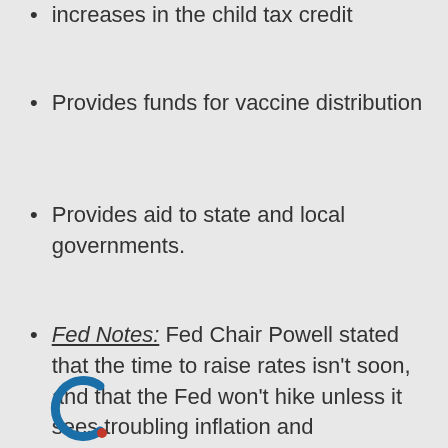increases in the child tax credit
Provides funds for vaccine distribution
Provides aid to state and local governments.
Fed Notes: Fed Chair Powell stated that the time to raise rates isn't soon, and that the Fed won't hike unless it sees troubling inflation and imbalances. Powell also said that the Fed will not tie itself to a particular formula when inflation rises to the target. Powell's in line with other Fed